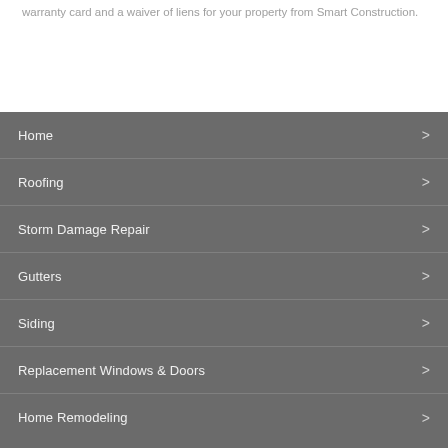warranty card and a waiver of liens for your property from Smart Construction.
Home
Roofing
Storm Damage Repair
Gutters
Siding
Replacement Windows & Doors
Home Remodeling